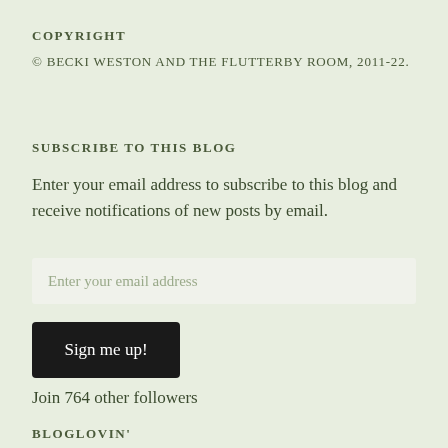COPYRIGHT
© BECKI WESTON AND THE FLUTTERBY ROOM, 2011-22.
SUBSCRIBE TO THIS BLOG
Enter your email address to subscribe to this blog and receive notifications of new posts by email.
Enter your email address
Sign me up!
Join 764 other followers
BLOGLOVIN'